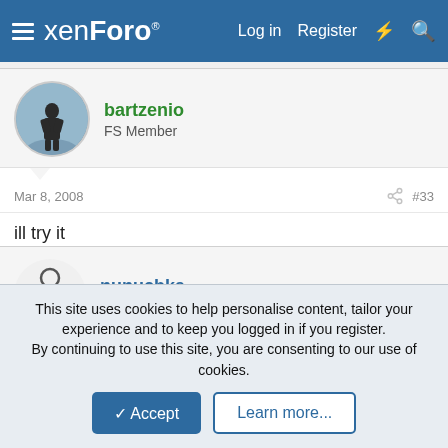xenForo  Log in  Register
bartzenio
FS Member
Mar 8, 2008  #33
ill try it
nunucbka
Donator
Mar 12, 2008  #34
This site uses cookies to help personalise content, tailor your experience and to keep you logged in if you register.
By continuing to use this site, you are consenting to our use of cookies.
Accept  Learn more...